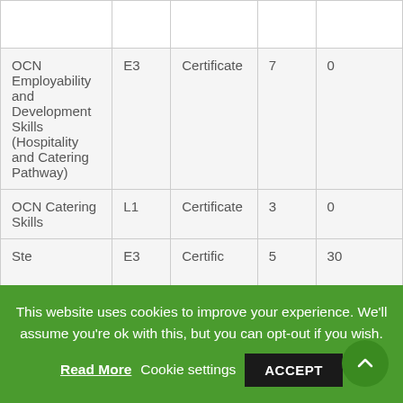|  |  |  |  |  |
| OCN Employability and Development Skills (Hospitality and Catering Pathway) | E3 | Certificate | 7 | 0 |
| OCN Catering Skills | L1 | Certificate | 3 | 0 |
| Ste... | E3 | Certific... | 5 | 30... |
This website uses cookies to improve your experience. We'll assume you're ok with this, but you can opt-out if you wish. Read More Cookie settings ACCEPT